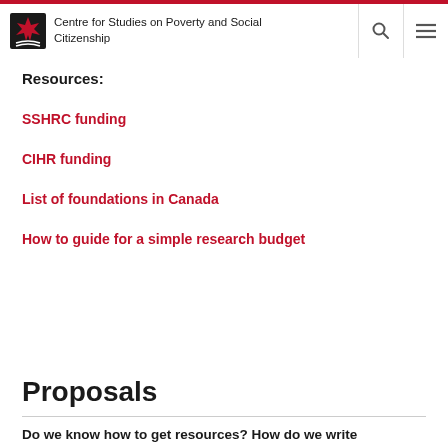Centre for Studies on Poverty and Social Citizenship
Resources:
SSHRC funding
CIHR funding
List of foundations in Canada
How to guide for a simple research budget
Proposals
Do we know how to get resources? How do we write